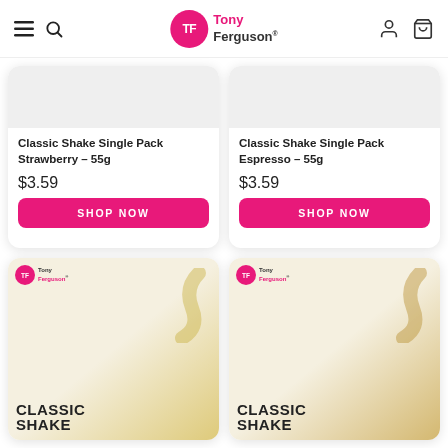Tony Ferguson
Classic Shake Single Pack Strawberry - 55g
$3.59
Classic Shake Single Pack Espresso - 55g
$3.59
[Figure (photo): Tony Ferguson Classic Shake product packet - Strawberry flavour]
[Figure (photo): Tony Ferguson Classic Shake product packet - another flavour]